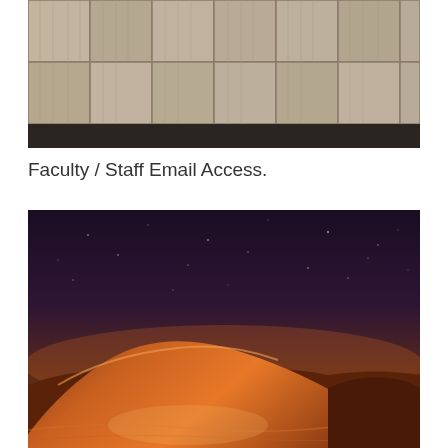[Figure (photo): Photograph of a wooden panel wall or fence with a grid pattern of wooden slats, with a dark horizontal band at the bottom]
Faculty / Staff Email Access.
[Figure (photo): Photograph of desert sand dunes at night with a starry purple-to-orange gradient sky, illuminated sand dune in the foreground]